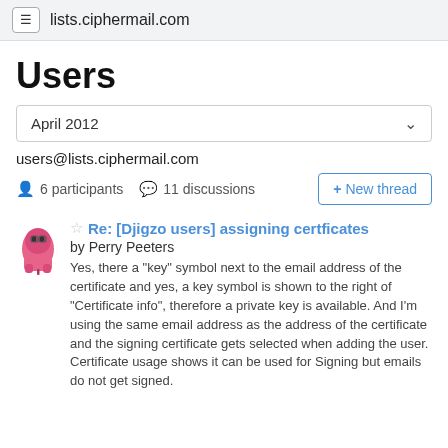lists.ciphermail.com
Users
April 2012
users@lists.ciphermail.com
6 participants   11 discussions
+ New thread
Re: [Djigzo users] assigning certficates
by Perry Peeters
Yes, there a "key" symbol next to the email address of the certificate and yes, a key symbol is shown to the right of "Certificate info", therefore a private key is available. And I'm using the same email address as the address of the certificate and the signing certificate gets selected when adding the user. Certificate usage shows it can be used for Signing but emails do not get signed.